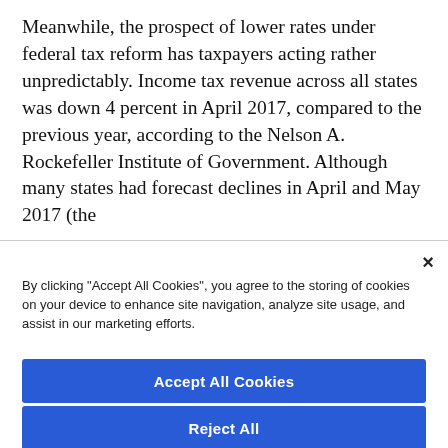Meanwhile, the prospect of lower rates under federal tax reform has taxpayers acting rather unpredictably. Income tax revenue across all states was down 4 percent in April 2017, compared to the previous year, according to the Nelson A. Rockefeller Institute of Government. Although many states had forecast declines in April and May 2017 (the
By clicking “Accept All Cookies”, you agree to the storing of cookies on your device to enhance site navigation, analyze site usage, and assist in our marketing efforts.
Accept All Cookies
Reject All
Cookies Settings